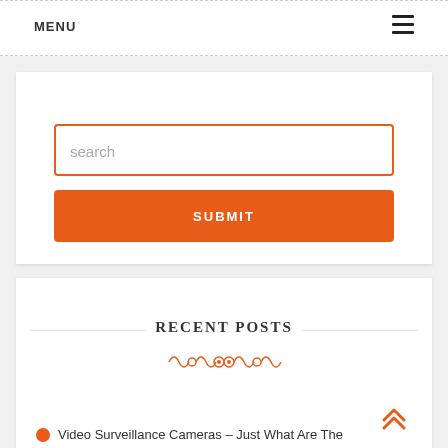MENU
[Figure (screenshot): Search widget with orange-bordered input field labeled 'search' and an orange SUBMIT button]
RECENT POSTS
[Figure (illustration): Decorative orange ornamental divider]
Video Surveillance Cameras – Just What Are The